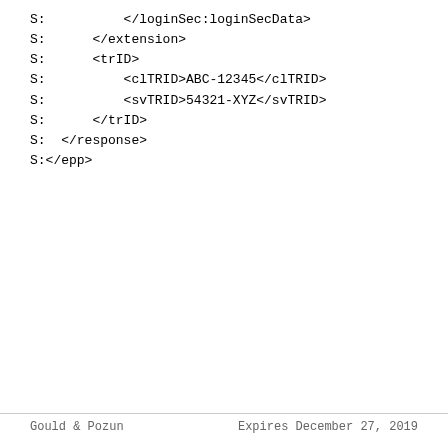S:          </loginSec:loginSecData>
S:      </extension>
S:      <trID>
S:          <clTRID>ABC-12345</clTRID>
S:          <svTRID>54321-XYZ</svTRID>
S:      </trID>
S:  </response>
S:</epp>
Gould & Pozun                 Expires December 27, 2019